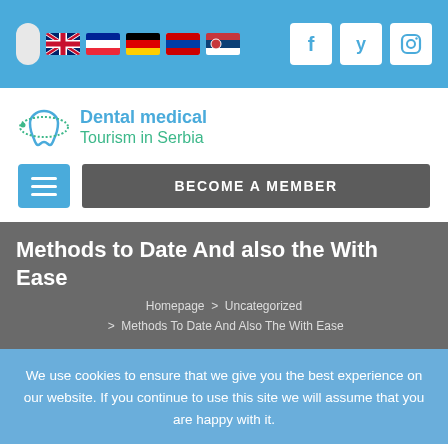Dental medical Tourism in Serbia — top navigation bar with language flags and social icons
[Figure (logo): Dental medical Tourism in Serbia logo with tooth icon and text]
[Figure (screenshot): Navigation bar with hamburger menu button and BECOME A MEMBER button]
Methods to Date And also the With Ease
Homepage > Uncategorized > Methods To Date And Also The With Ease
We use cookies to ensure that we give you the best experience on our website. If you continue to use this site we will assume that you are happy with it.
Methods To Date And Also The With Ease